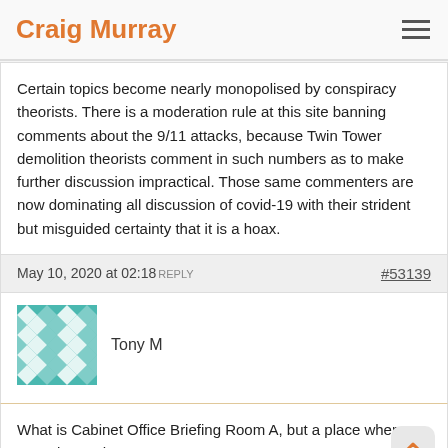Craig Murray
Certain topics become nearly monopolised by conspiracy theorists. There is a moderation rule at this site banning comments about the 9/11 attacks, because Twin Tower demolition theorists comment in such numbers as to make further discussion impractical. Those same commenters are now dominating all discussion of covid-19 with their strident but misguided certainty that it is a hoax.
May 10, 2020 at 02:18 REPLY   #53139
Tony M
What is Cabinet Office Briefing Room A, but a place where conspirators hang out?
May 10, 2020 at 09:33 REPLY   #53142